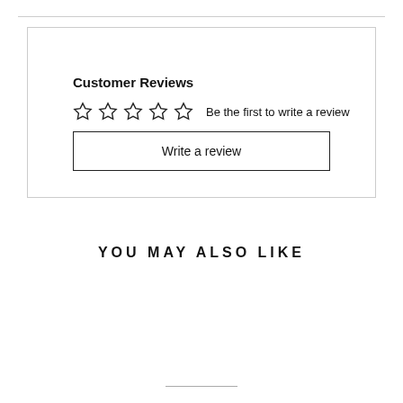Customer Reviews
☆☆☆☆☆  Be the first to write a review
Write a review
YOU MAY ALSO LIKE